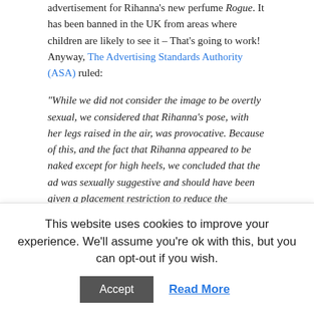advertisement for Rihanna's new perfume Rogue. It has been banned in the UK from areas where children are likely to see it – That's going to work! Anyway, The Advertising Standards Authority (ASA) ruled:
"While we did not consider the image to be overtly sexual, we considered that Rihanna's pose, with her legs raised in the air, was provocative. Because of this, and the fact that Rihanna appeared to be naked except for high heels, we concluded that the ad was sexually suggestive and should have been given a placement restriction to reduce the possibility of it being seen by children."
Children, girls especially, have a lot of unnecessary body image pressure on them – pressure that is meted out by many different industries. While Rihanna, Miley Cyrus,
This website uses cookies to improve your experience. We'll assume you're ok with this, but you can opt-out if you wish.